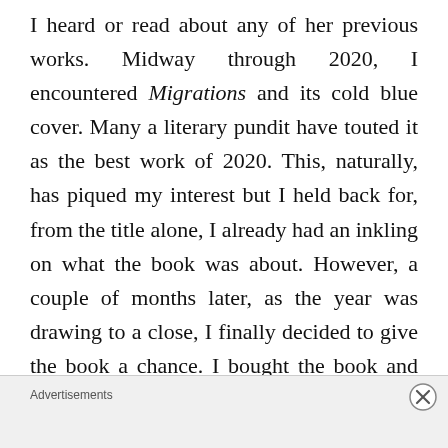I heard or read about any of her previous works. Midway through 2020, I encountered Migrations and its cold blue cover. Many a literary pundit have touted it as the best work of 2020. This, naturally, has piqued my interest but I held back for, from the title alone, I already had an inkling on what the book was about. However, a couple of months later, as the year was drawing to a close, I finally decided to give the book a chance. I bought the book and made it part of an uncharacteristic reading year where I read more “new” books than I ever had before. The book, at the start, felt mundane but as it moved forward
Advertisements